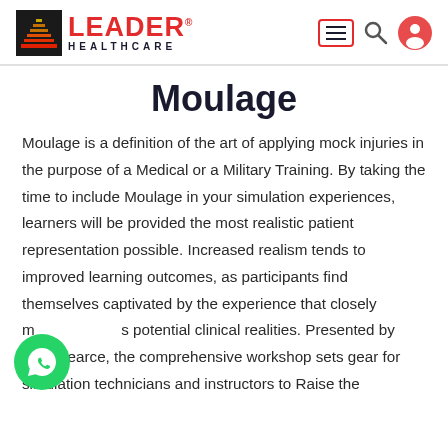Leader Healthcare
Moulage
Moulage is a definition of the art of applying mock injuries in the purpose of a Medical or a Military Training. By taking the time to include Moulage in your simulation experiences, learners will be provided the most realistic patient representation possible. Increased realism tends to improved learning outcomes, as participants find themselves captivated by the experience that closely mirrors potential clinical realities. Presented by Nola Pearce, the comprehensive workshop sets gear for simulation technicians and instructors to Raise the